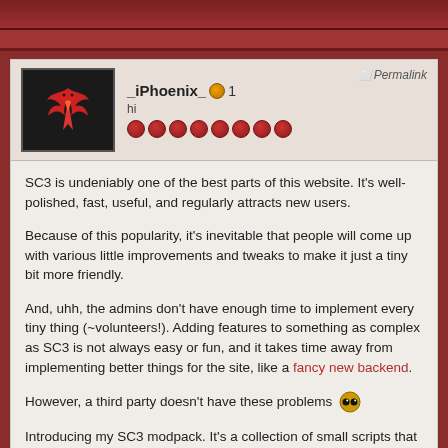_iPhoenix_ 1
hi
SC3 is undeniably one of the best parts of this website. It's well-polished, fast, useful, and regularly attracts new users.

Because of this popularity, it's inevitable that people will come up with various little improvements and tweaks to make it just a tiny bit more friendly.

And, uhh, the admins don't have enough time to implement every tiny thing (~volunteers!). Adding features to something as complex as SC3 is not always easy or fun, and it takes time away from implementing better things for the site, like a fancy new backend.

However, a third party doesn't have these problems 😲

Introducing my SC3 modpack. It's a collection of small scripts that tweak sc3's front-end.

You can "install" it and read about it here.

Enjoy.
[Figure (screenshot): Bottom dark banner image showing 'mod' text in red on a dark red/black background]